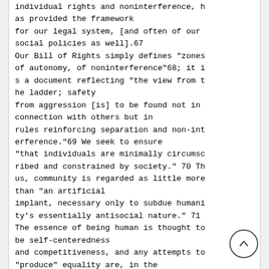individual rights and noninterference, has provided the framework for our legal system, [and often of our social policies as well].67 Our Bill of Rights simply defines "zones of autonomy, of noninterference"68; it is a document reflecting "the view from the ladder; safety from aggression [is] to be found not in connection with others but in rules reinforcing separation and non-interference."69 We seek to ensure "that individuals are minimally circumscribed and constrained by society." 70 Thus, community is regarded as little more than "an artificial implant, necessary only to subdue humanity's essentially antisocial nature." 71 The essence of being human is thought to be self-centeredness and competitiveness, and any attempts to "produce" equality are, in the view of Oliver Wendell Holmes, "merely idealizing envy."72 With limited government and a free market, the deserving will